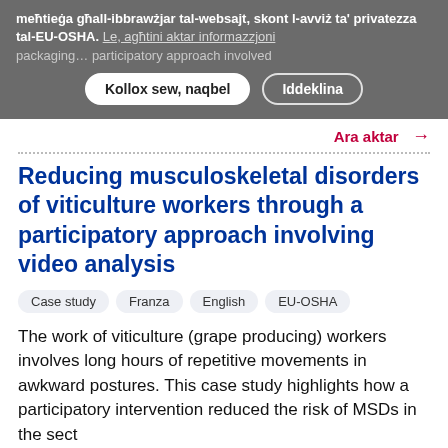meħtieġa għall-ibbrawżjar tal-websajt, skont l-avviż ta' privatezza tal-EU-OSHA. Le, agħtini aktar informazzjoni packaging … participatory approach involved
Kollox sew, naqbel | Iddeklina
Ara aktar →
Reducing musculoskeletal disorders of viticulture workers through a participatory approach involving video analysis
Case study
Franza
English
EU-OSHA
The work of viticulture (grape producing) workers involves long hours of repetitive movements in awkward postures. This case study highlights how a participatory intervention reduced the risk of MSDs in the sect